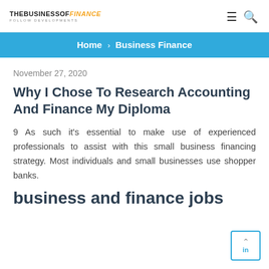THE BUSINESS OF FINANCE — FOLLOW DEVELOPMENTS
Home › Business Finance
November 27, 2020
Why I Chose To Research Accounting And Finance My Diploma
9 As such it's essential to make use of experienced professionals to assist with this small business financing strategy. Most individuals and small businesses use shopper banks.
business and finance jobs